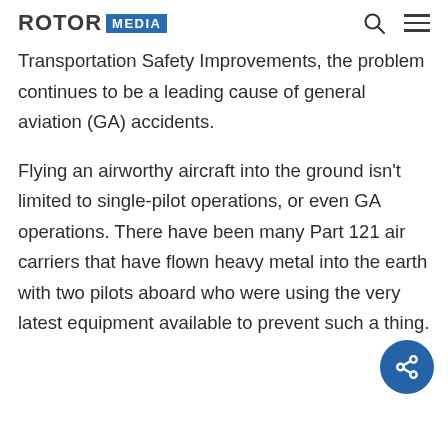ROTOR MEDIA
Transportation Safety Improvements, the problem continues to be a leading cause of general aviation (GA) accidents.
Flying an airworthy aircraft into the ground isn't limited to single-pilot operations, or even GA operations. There have been many Part 121 air carriers that have flown heavy metal into the earth with two pilots aboard who were using the very latest equipment available to prevent such a thing.